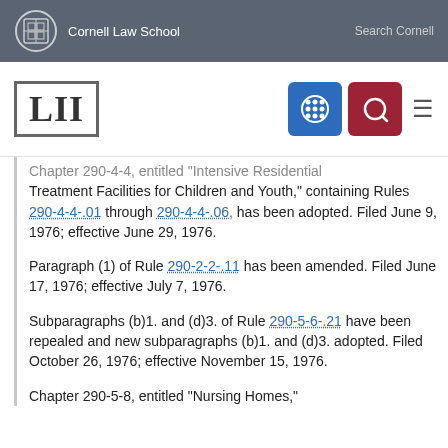Cornell Law School | Search Cornell
[Figure (logo): LII Legal Information Institute logo with navigation icons]
Chapter 290-4-4, entitled "Intensive Residential Treatment Facilities for Children and Youth," containing Rules 290-4-4-.01 through 290-4-4-.06, has been adopted. Filed June 9, 1976; effective June 29, 1976.
Paragraph (1) of Rule 290-2-2-.11 has been amended. Filed June 17, 1976; effective July 7, 1976.
Subparagraphs (b)1. and (d)3. of Rule 290-5-6-.21 have been repealed and new subparagraphs (b)1. and (d)3. adopted. Filed October 26, 1976; effective November 15, 1976.
Chapter 290-5-8, entitled "Nursing Homes,"